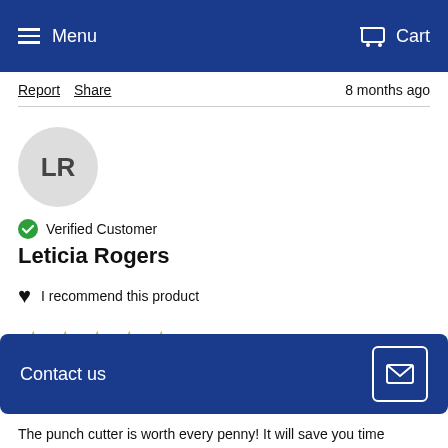Menu  Cart
Report  Share  8 months ago
[Figure (other): User avatar circle with initials LR on grey background]
Verified Customer
Leticia Rogers
I recommend this product
★★★★★ (4 stars shown)
Contact us
The punch cutter is worth every penny! It will save you time